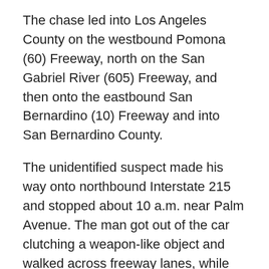The chase led into Los Angeles County on the westbound Pomona (60) Freeway, north on the San Gabriel River (605) Freeway, and then onto the eastbound San Bernardino (10) Freeway and into San Bernardino County.
The unidentified suspect made his way onto northbound Interstate 215 and stopped about 10 a.m. near Palm Avenue. The man got out of the car clutching a weapon-like object and walked across freeway lanes, while officers blocked traffic in the area.
After a standoff, in which he pointed his weapon at officers, the man was taken into custody and appeared to have sustained some type of injury while being wrestled to the ground.
Copyright 2016 FOX 11 Los Angeles ; Download our mobile